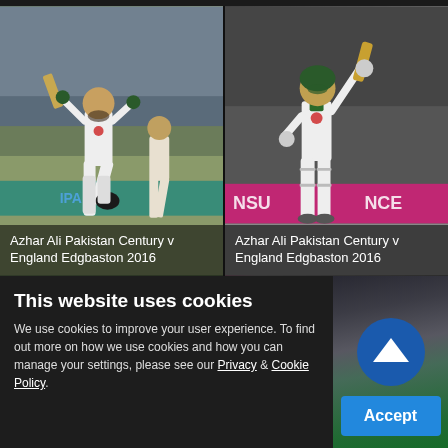[Figure (photo): Azhar Ali celebrating a century for Pakistan v England at Edgbaston 2016, batsman running with arms raised holding bat and helmet]
Azhar Ali Pakistan Century v England Edgbaston 2016
[Figure (photo): Azhar Ali looking skyward celebrating century for Pakistan v England at Edgbaston 2016, holding bat aloft with pink advertising hoarding visible]
Azhar Ali Pakistan Century v England Edgbaston 2016
This website uses cookies
We use cookies to improve your user experience. To find out more on how we use cookies and how you can manage your settings, please see our Privacy & Cookie Policy.